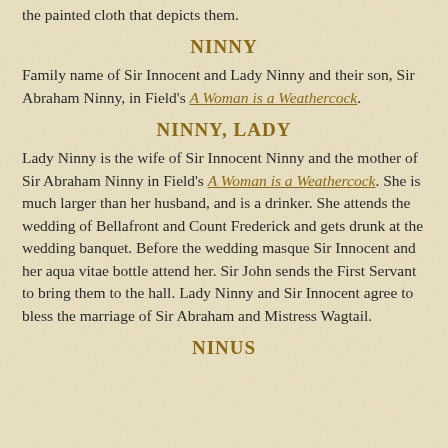the painted cloth that depicts them.
NINNY
Family name of Sir Innocent and Lady Ninny and their son, Sir Abraham Ninny, in Field's A Woman is a Weathercock.
NINNY, LADY
Lady Ninny is the wife of Sir Innocent Ninny and the mother of Sir Abraham Ninny in Field's A Woman is a Weathercock. She is much larger than her husband, and is a drinker. She attends the wedding of Bellafront and Count Frederick and gets drunk at the wedding banquet. Before the wedding masque Sir Innocent and her aqua vitae bottle attend her. Sir John sends the First Servant to bring them to the hall. Lady Ninny and Sir Innocent agree to bless the marriage of Sir Abraham and Mistress Wagtail.
NINUS